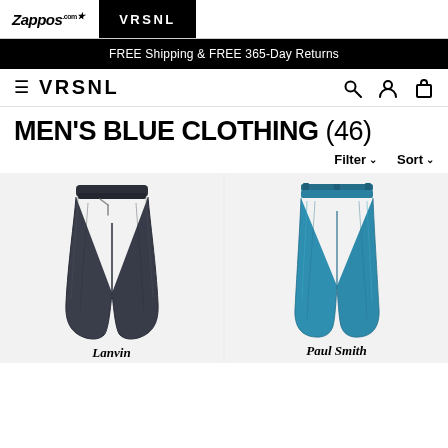Zappos VRSNL
FREE Shipping & FREE 365-Day Returns
VRSNL — MEN'S BLUE CLOTHING (46)
MEN'S BLUE CLOTHING (46)
Filter  Sort
[Figure (photo): Dark navy blue casual drawstring pants from Lanvin on a light grey background]
[Figure (photo): Teal/blue slim dress pants from Paul Smith on a light grey background]
Lanvin
Paul Smith